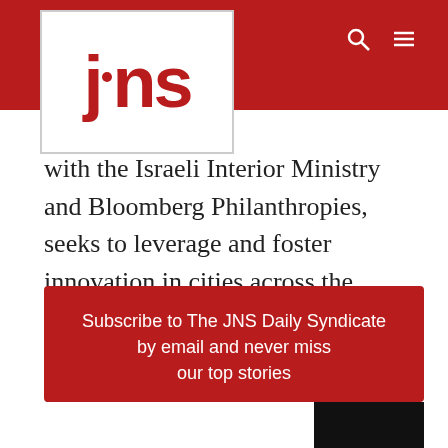JNS
with the Israeli Interior Ministry and Bloomberg Philanthropies, seeks to leverage and foster innovation in cities across the country in order to ensure “better, longer lives for the greatest number of people.” Since its inception in 2019, the project has established Innovation Teams in 12 Israeli cities—some Jewish, some Arab and some mixed.
Subscribe to The JNS Daily Syndicate by email and never miss our top stories